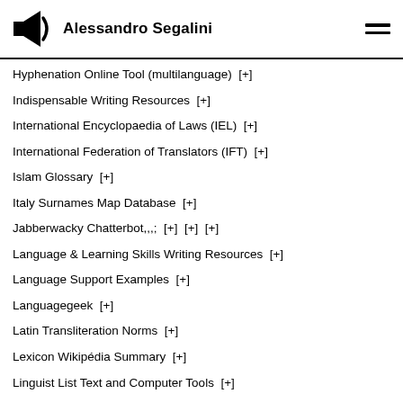Alessandro Segalini
Hyphenation Online Tool (multilanguage)  [+]
Indispensable Writing Resources  [+]
International Encyclopaedia of Laws (IEL)  [+]
International Federation of Translators (IFT)  [+]
Islam Glossary  [+]
Italy Surnames Map Database  [+]
Jabberwacky Chatterbot,,,;  [+]  [+]  [+]
Language & Learning Skills Writing Resources  [+]
Language Support Examples  [+]
Languagegeek  [+]
Latin Transliteration Norms  [+]
Lexicon Wikipédia Summary  [+]
Linguist List Text and Computer Tools  [+]